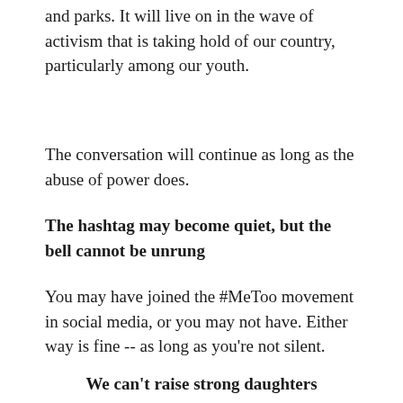and parks. It will live on in the wave of activism that is taking hold of our country, particularly among our youth.
The conversation will continue as long as the abuse of power does.
The hashtag may become quiet, but the bell cannot be unrung
You may have joined the #MeToo movement in social media, or you may not have. Either way is fine -- as long as you're not silent.
We can't raise strong daughters